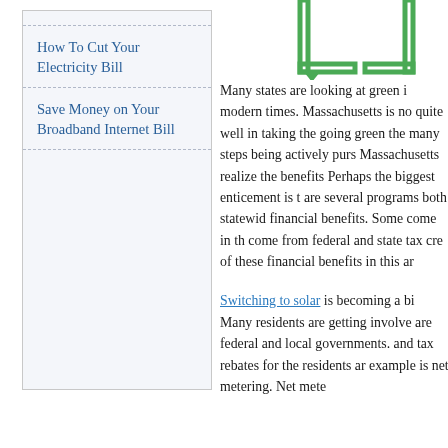[Figure (illustration): Green bracket/frame shapes partially visible at top right of page]
How To Cut Your Electricity Bill
Save Money on Your Broadband Internet Bill
Many states are looking at green i... modern times. Massachusetts is no... quite well in taking the going green... the many steps being actively purs... Massachusetts realize the benefits... Perhaps the biggest enticement is t... are several programs both statewid... financial benefits. Some come in th... come from federal and state tax cre... of these financial benefits in this ar...
Switching to solar is becoming a bi... Many residents are getting involve... are federal and local governments.... and tax rebates for the residents ar... example is net metering. Net meter...